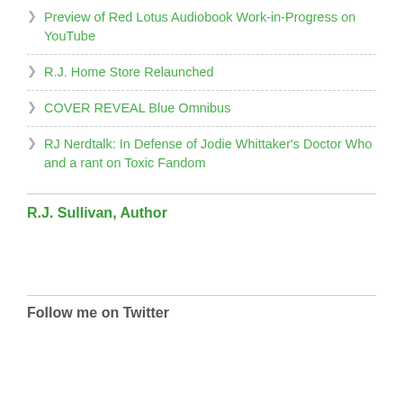Preview of Red Lotus Audiobook Work-in-Progress on YouTube
R.J. Home Store Relaunched
COVER REVEAL Blue Omnibus
RJ Nerdtalk: In Defense of Jodie Whittaker's Doctor Who and a rant on Toxic Fandom
R.J. Sullivan, Author
Follow me on Twitter